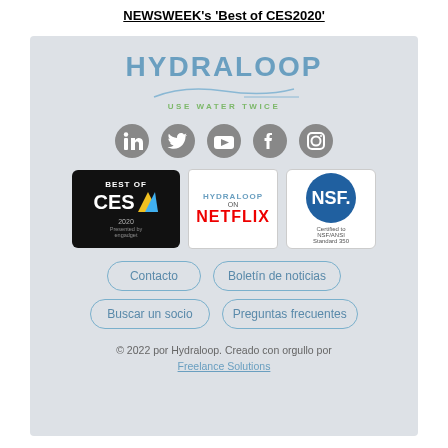NEWSWEEK's 'Best of CES2020'
[Figure (logo): Hydraloop 'Use Water Twice' logo with wave, social media icons (LinkedIn, Twitter, YouTube, Facebook, Instagram), Best of CES 2020 badge, Hydraloop on Netflix badge, NSF certified badge, contact buttons (Contacto, Boletín de noticias, Buscar un socio, Preguntas frecuentes), and footer copyright text.]
© 2022 por Hydraloop. Creado con orgullo por Freelance Solutions